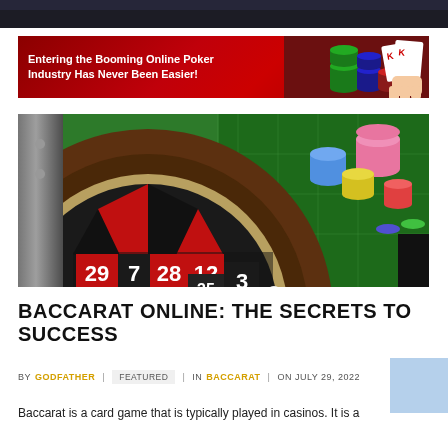[Figure (photo): Partial top strip of a casino/roulette image cropped at top of page]
[Figure (infographic): Red advertisement banner reading 'Entering the Booming Online Poker Industry Has Never Been Easier!' with casino chips and playing cards on the right side]
[Figure (photo): Photo of a roulette wheel and casino table with colored chips. Numbers visible: 29, 7, 28, 12, 35, 3]
BACCARAT ONLINE: THE SECRETS TO SUCCESS
BY GODFATHER | FEATURED | IN BACCARAT | ON JULY 29, 2022
Baccarat is a card game that is typically played in casinos. It is a